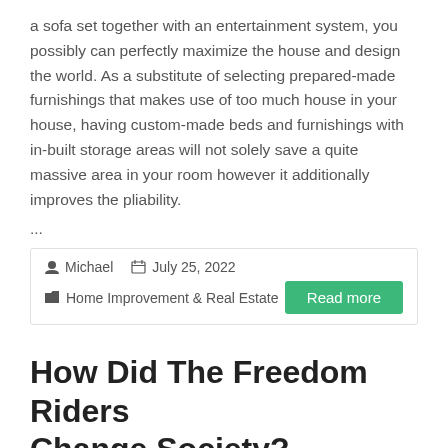a sofa set together with an entertainment system, you possibly can perfectly maximize the house and design the world. As a substitute of selecting prepared-made furnishings that makes use of too much house in your house, having custom-made beds and furnishings with in-built storage areas will not solely save a quite massive area in your room however it additionally improves the pliability.
...
Michael   July 25, 2022   Home Improvement & Real Estate   Read more
How Did The Freedom Riders Change Society?
[Figure (photo): A brown-toned image showing what appears to be a decorative figure or statue]
Usually, litigation